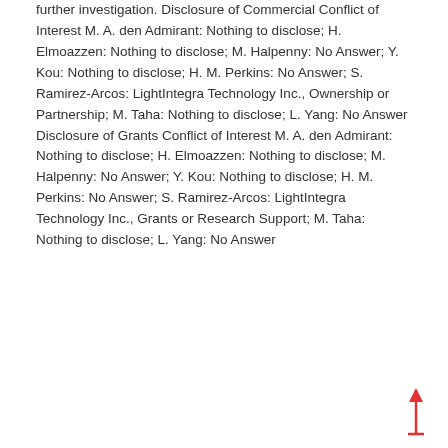further investigation. Disclosure of Commercial Conflict of Interest M. A. den Admirant: Nothing to disclose; H. Elmoazzen: Nothing to disclose; M. Halpenny: No Answer; Y. Kou: Nothing to disclose; H. M. Perkins: No Answer; S. Ramirez-Arcos: LightIntegra Technology Inc., Ownership or Partnership; M. Taha: Nothing to disclose; L. Yang: No Answer Disclosure of Grants Conflict of Interest M. A. den Admirant: Nothing to disclose; H. Elmoazzen: Nothing to disclose; M. Halpenny: No Answer; Y. Kou: Nothing to disclose; H. M. Perkins: No Answer; S. Ramirez-Arcos: LightIntegra Technology Inc., Grants or Research Support; M. Taha: Nothing to disclose; L. Yang: No Answer